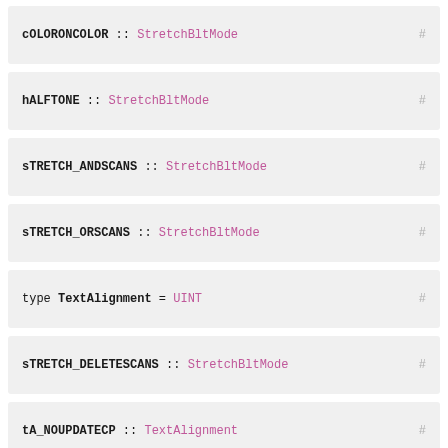cOLORONCOLOR :: StretchBltMode #
hALFTONE :: StretchBltMode #
sTRETCH_ANDSCANS :: StretchBltMode #
sTRETCH_ORSCANS :: StretchBltMode #
type TextAlignment = UINT #
sTRETCH_DELETESCANS :: StretchBltMode #
tA_NOUPDATECP :: TextAlignment #